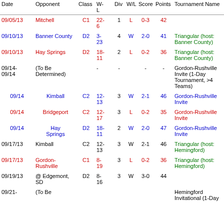| Date | Opponent | Class | W-L | Div | W/L | Score | Points | Tournament Name |
| --- | --- | --- | --- | --- | --- | --- | --- | --- |
| 09/05/13 | Mitchell | C1 | 22-6 | 1 | L | 0-3 | 42 |  |
| 09/10/13 | Banner County | D2 | 3-23 | 4 | W | 2-0 | 41 | Triangular (host: Banner County) |
| 09/10/13 | Hay Springs | D2 | 18-11 | 2 | L | 0-2 | 36 | Triangular (host: Banner County) |
| 09/14-09/14 | (To Be Determined) |  | - | - |  | - | - | Gordon-Rushville Invite (1-Day Tournament, >4 Teams) |
| 09/14 | Kimball | C2 | 12-13 | 3 | W | 2-1 | 46 | Gordon-Rushville Invite |
| 09/14 | Bridgeport | C2 | 12-17 | 3 | L | 0-2 | 35 | Gordon-Rushville Invite |
| 09/14 | Hay Springs | D2 | 18-11 | 2 | W | 2-0 | 47 | Gordon-Rushville Invite |
| 09/17/13 | Kimball | C2 | 12-13 | 3 | W | 2-1 | 46 | Triangular (host: Hemingford) |
| 09/17/13 | Gordon-Rushville | C1 | 8-19 | 3 | L | 0-2 | 36 | Triangular (host: Hemingford) |
| 09/19/13 | @ Edgemont, SD | D2 | 8-16 | 3 | W | 3-0 | 44 |  |
| 09/21- | (To Be |  |  |  |  |  |  | Hemingford Invitational (1-Day |